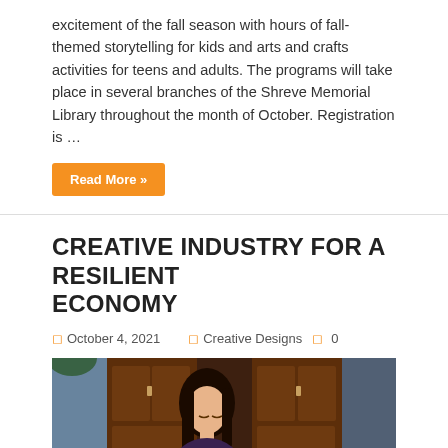excitement of the fall season with hours of fall-themed storytelling for kids and arts and crafts activities for teens and adults. The programs will take place in several branches of the Shreve Memorial Library throughout the month of October. Registration is …
Read More »
CREATIVE INDUSTRY FOR A RESILIENT ECONOMY
October 4, 2021   Creative Designs   0
[Figure (photo): A young Asian woman holding a tablet/notebook and looking downward, seated in front of a smartphone on a gimbal/tripod. Behind her are wooden doors and blue-tinted windows. An orange scroll-to-top button appears in the bottom-right corner.]